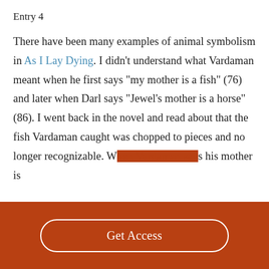Entry 4
There have been many examples of animal symbolism in As I Lay Dying. I didn’t understand what Vardaman meant when he first says “my mother is a fish” (76) and later when Darl says “Jewel’s mother is a horse” (86). I went back in the novel and read about that the fish Vardaman caught was chopped to pieces and no longer recognizable. Wh… his mother is
Get Access